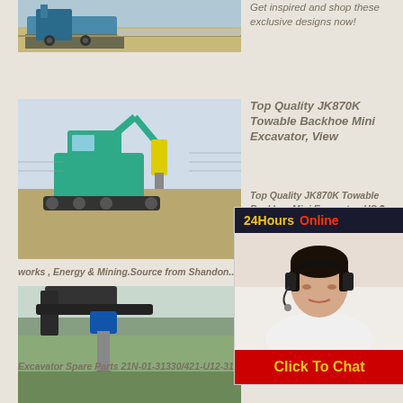[Figure (photo): Construction/drilling machinery at a worksite with pipe]
Get inspired and shop these exclusive designs now!
[Figure (photo): Mini excavator backhoe working on a construction site]
Top Quality JK870K Towable Backhoe Mini Excavator, View
Top Quality JK870K Towable Backhoe Mini Excavator, US $ 29883 - ... hp)--92 k... Farms, H... works , Energy & Mining.Source from Shandon... on Alibaba.com.
[Figure (photo): Chat support agent - woman with headset, 24Hours Online overlay with Click To Chat button]
[Figure (photo): Drilling auger attachment on a machine in a field]
Source... Quality... Parts ...
Promotio... Excavator Spare Parts 21N-01-31330/421-U12-3100 pre-cleaner for PC300-7/350-